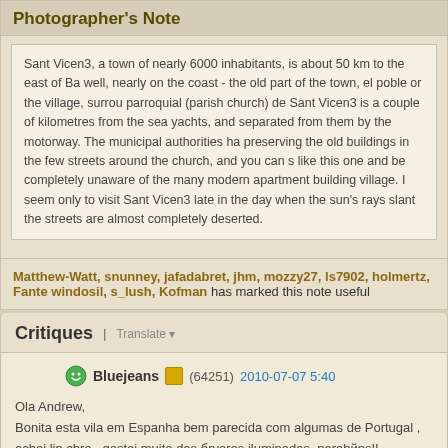Photographer's Note
Sant Vicen3, a town of nearly 6000 inhabitants, is about 50 km to the east of Ba well, nearly on the coast - the old part of the town, el poble or the village, surrou parroquial (parish church) de Sant Vicen3 is a couple of kilometres from the sea yachts, and separated from them by the motorway. The municipal authorities ha preserving the old buildings in the few streets around the church, and you can s like this one and be completely unaware of the many modern apartment building village. I seem only to visit Sant Vicen3 late in the day when the sun's rays slant the streets are almost completely deserted.
Matthew-Watt, snunney, jafadabret, jhm, mozzy27, ls7902, holmertz, Fante windosil, s_lush, Kofman has marked this note useful
Critiques | Translate
Bluejeans (64251) 2010-07-07 5:40
Ola Andrew,
Bonita esta vila em Espanha bem parecida com algumas de Portugal , achei lin chro , gostei muito das бrvores iluminadas, parabйns!!
Um abraзo Gonзalo